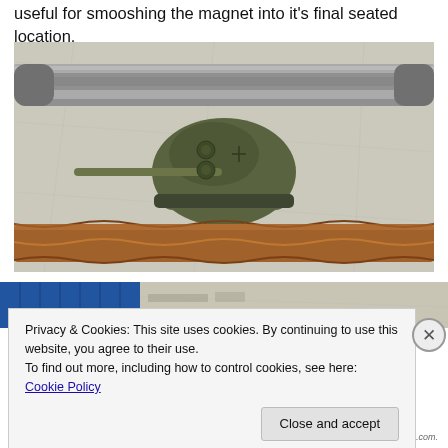useful for smooshing the magnet into it's final seated location.
[Figure (photo): Photo showing three items on a crumpled paper background: a threaded metallic rod/bolt at the top, a small olive-green military tank miniature in the middle, and a twisted copper drill bit at the bottom.]
[Figure (photo): Partial photo of a blue vertical surface and a crumpled paper background, partially obscured by cookie consent banner.]
Privacy & Cookies: This site uses cookies. By continuing to use this website, you agree to their use.
To find out more, including how to control cookies, see here: Cookie Policy
Close and accept